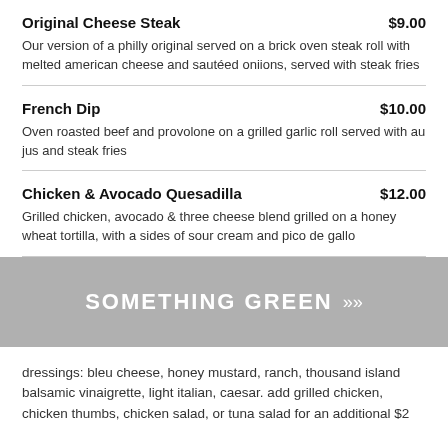Original Cheese Steak $9.00 — Our version of a philly original served on a brick oven steak roll with melted american cheese and sautéed oniions, served with steak fries
French Dip $10.00 — Oven roasted beef and provolone on a grilled garlic roll served with au jus and steak fries
Chicken & Avocado Quesadilla $12.00 — Grilled chicken, avocado & three cheese blend grilled on a honey wheat tortilla, with a sides of sour cream and pico de gallo
SOMETHING GREEN
dressings: bleu cheese, honey mustard, ranch, thousand island balsamic vinaigrette, light italian, caesar. add grilled chicken, chicken thumbs, chicken salad, or tuna salad for an additional $2